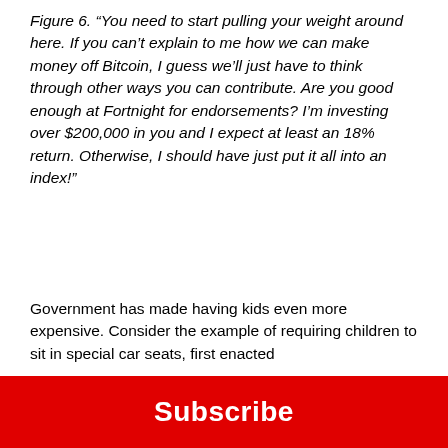Figure 6. “You need to start pulling your weight around here. If you can’t explain to me how we can make money off Bitcoin, I guess we’ll just have to think through other ways you can contribute. Are you good enough at Fortnight for endorsements? I’m investing over $200,000 in you and I expect at least an 18% return. Otherwise, I should have just put it all into an index!”
Government has made having kids even more expensive. Consider the example of requiring children to sit in special car seats, first enacted
Subscribe